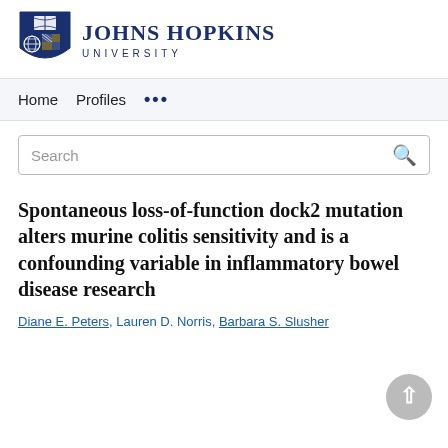[Figure (logo): Johns Hopkins University logo with shield and text]
Home   Profiles   ...
Search
Spontaneous loss-of-function dock2 mutation alters murine colitis sensitivity and is a confounding variable in inflammatory bowel disease research
Diane E. Peters, Lauren D. Norris, Barbara S. Slusher